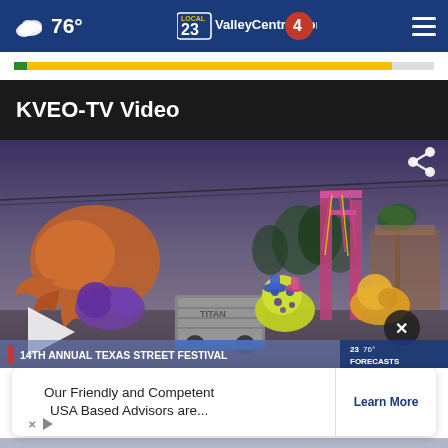76° ValleyCentral.com
[Figure (screenshot): Ad banner strip with green, yellow color bar]
KVEO-TV Video
[Figure (screenshot): Video thumbnail showing 14th Annual Texas Street Festival carnival rides with colorful attractions including a claw ride and train with cartoon figures, with a play button overlay and share icon]
14TH ANNUAL TEXAS STREET FESTIVAL
Our Friendly and Competent USA Based Advisors are...
Learn More